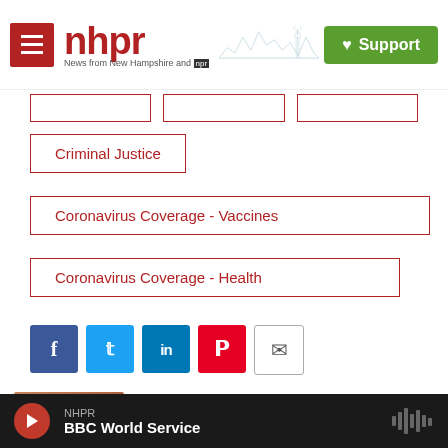[Figure (logo): NHPR logo with hamburger menu icon, NHPR text in red, 'News from New Hampshire and NPR' tagline, mountain/tower skyline graphic, and green Support button]
Criminal Justice
Coronavirus Coverage - Vaccines
Coronavirus Coverage - Health
[Figure (infographic): Social sharing buttons: Facebook (blue f), Twitter (blue bird), LinkedIn (blue in), Pinterest (red P), Email (envelope icon)]
[Figure (photo): Headshot photo of Sarah Gibson, a woman with long reddish-brown hair, smiling, wearing a dark top, photographed outdoors]
Sarah Gibson
Sarah Gibson joined NHPR's newsroom in
[Figure (infographic): Audio player bar at bottom: red play button, NHPR station label, BBC World Service show title, waveform icon on right]